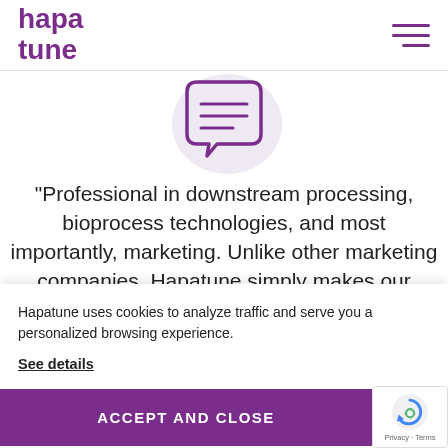hapatune
[Figure (illustration): Purple speech bubble / chat icon with horizontal lines inside, on a light lavender circle background]
“Professional in downstream processing, bioprocess technologies, and most importantly, marketing. Unlike other marketing companies, Hapatune simply makes our operation more efficient as they have extensive knowledge
Hapatune uses cookies to analyze traffic and serve you a personalized browsing experience.
See details
ACCEPT AND CLOSE